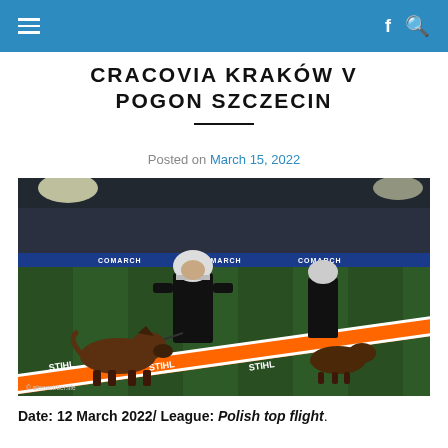Navigation bar with hamburger menu, Facebook and search icons
CRACOVIA KRAKÓW V POGON SZCZECIN
Posted on March 15, 2022
[Figure (photo): Riot police officers in black armor and white helmets with police dogs (German Shepherds) on the football pitch at a stadium. Orange STIHL advertising barrier tape visible in foreground. COMARCH advertising board visible in background. Photo credit: © alexwebber.life]
Date: 12 March 2022/ League: Polish top flight.